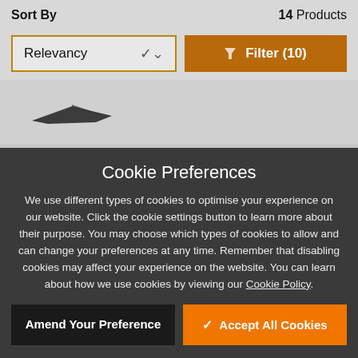Sort By
14 Products
Relevancy
Filter (10)
[Figure (screenshot): Partial product image visible behind cookie modal overlay]
Cookie Preferences
We use different types of cookies to optimise your experience on our website. Click the cookie settings button to learn more about their purpose. You may choose which types of cookies to allow and can change your preferences at any time. Remember that disabling cookies may affect your experience on the website. You can learn about how we use cookies by viewing our Cookie Policy.
Amend Your Preference
Accept All Cookies